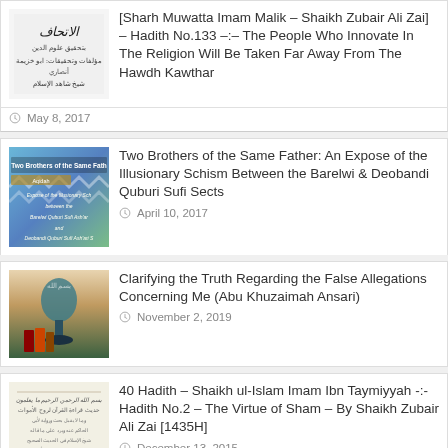[Figure (other): Book/logo thumbnail for Ittihaf al-Kiraam publication]
[Sharh Muwatta Imam Malik – Shaikh Zubair Ali Zai] – Hadith No.133 –:– The People Who Innovate In The Religion Will Be Taken Far Away From The Hawdh Kawthar
May 8, 2017
[Figure (other): Colorful book cover: Two Brothers of the Same Father]
Two Brothers of the Same Father: An Expose of the Illusionary Schism Between the Barelwi & Deobandi Quburi Sufi Sects
April 10, 2017
[Figure (photo): Photo of a lamp with books and Arabic calligraphy]
Clarifying the Truth Regarding the False Allegations Concerning Me (Abu Khuzaimah Ansari)
November 2, 2019
[Figure (other): Handwritten Arabic text manuscript page]
40 Hadith – Shaikh ul-Islam Imam Ibn Taymiyyah -:- Hadith No.2 – The Virtue of Sham – By Shaikh Zubair Ali Zai [1435H]
December 13, 2015
[Figure (other): Book/logo thumbnail for Ittihaf al-Kiraam publication]
[Sharh Muwatta Imam Malik – Shaikh Zubair Ali Zai] – Hadith No.90 –:– It Is Allowed To Have Marital Relations With One's Wife Whilst She Is Pregnant Or Breastfeeding After The Post Natal Bleeding